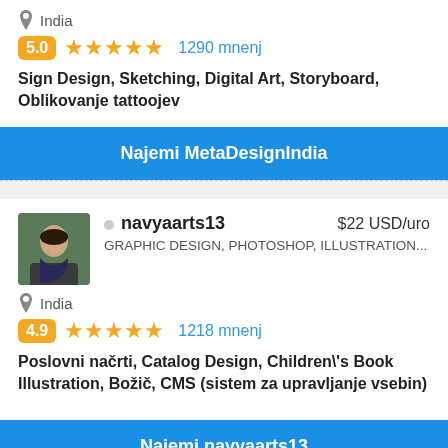India
5.0 ★★★★★ 1290 mnenj
Sign Design, Sketching, Digital Art, Storyboard, Oblikovanje tattoojev
Najemi MetaDesignIndia
[Figure (photo): Profile photo of navyaarts13, a young woman]
navyaarts13  $22 USD/uro
GRAPHIC DESIGN, PHOTOSHOP, ILLUSTRATION...
India
4.9 ★★★★★ 1218 mnenj
Poslovni načrti, Catalog Design, Children\'s Book Illustration, Božič, CMS (sistem za upravljanje vsebin)
Najemi navyaarts13